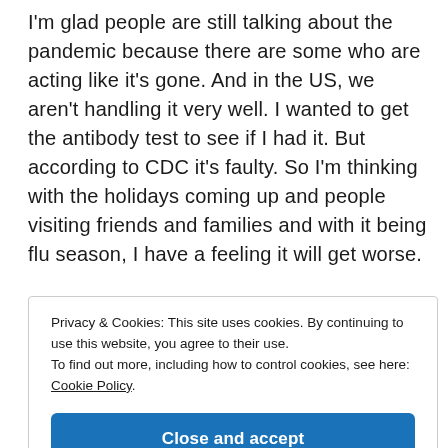I'm glad people are still talking about the pandemic because there are some who are acting like it's gone. And in the US, we aren't handling it very well. I wanted to get the antibody test to see if I had it. But according to CDC it's faulty. So I'm thinking with the holidays coming up and people visiting friends and families and with it being flu season, I have a feeling it will get worse.
Privacy & Cookies: This site uses cookies. By continuing to use this website, you agree to their use.
To find out more, including how to control cookies, see here: Cookie Policy
Close and accept